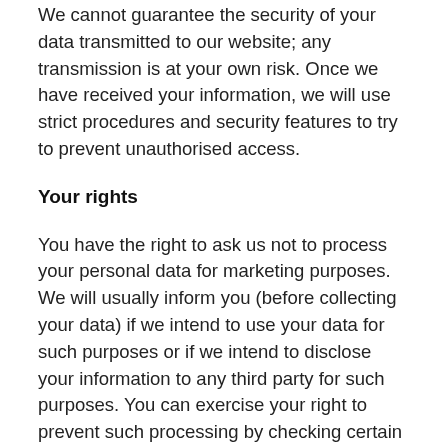We cannot guarantee the security of your data transmitted to our website; any transmission is at your own risk. Once we have received your information, we will use strict procedures and security features to try to prevent unauthorised access.
Your rights
You have the right to ask us not to process your personal data for marketing purposes. We will usually inform you (before collecting your data) if we intend to use your data for such purposes or if we intend to disclose your information to any third party for such purposes. You can exercise your right to prevent such processing by checking certain boxes on the forms we use to collect your data. You can also exercise the right at any time by contacting us at: Independent Vetcare Limited, The Chocolate Factory, Keynsham, Bristol, BS31 2AU. Email